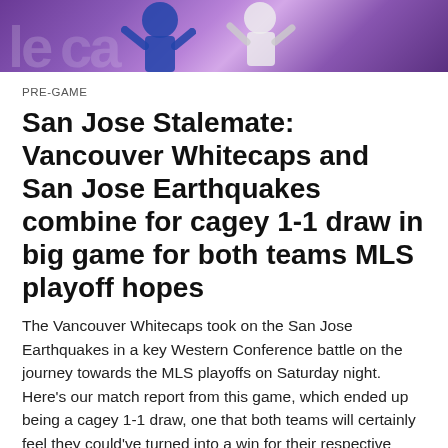[Figure (photo): Sports photo banner showing Vancouver Whitecaps and San Jose Earthquakes players against a purple background with partial text visible]
PRE-GAME
San Jose Stalemate: Vancouver Whitecaps and San Jose Earthquakes combine for cagey 1-1 draw in big game for both teams MLS playoff hopes
The Vancouver Whitecaps took on the San Jose Earthquakes in a key Western Conference battle on the journey towards the MLS playoffs on Saturday night. Here's our match report from this game, which ended up being a cagey 1-1 draw, one that both teams will certainly feel they could've turned into a win for their respective sides on Saturday.  It wasn't the result that they … Continue reading
ALEXANDRE GANGUÉ-RUZIC / OCTOBER 23, 2021 / LEAVE A